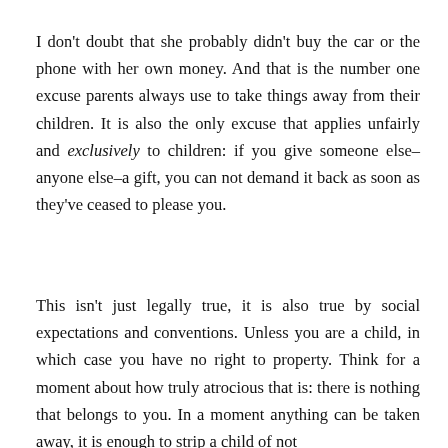I don't doubt that she probably didn't buy the car or the phone with her own money. And that is the number one excuse parents always use to take things away from their children. It is also the only excuse that applies unfairly and exclusively to children: if you give someone else–anyone else–a gift, you can not demand it back as soon as they've ceased to please you.
This isn't just legally true, it is also true by social expectations and conventions. Unless you are a child, in which case you have no right to property. Think for a moment about how truly atrocious that is: there is nothing that belongs to you. In a moment anything can be taken away, it is enough to strip a child of not...